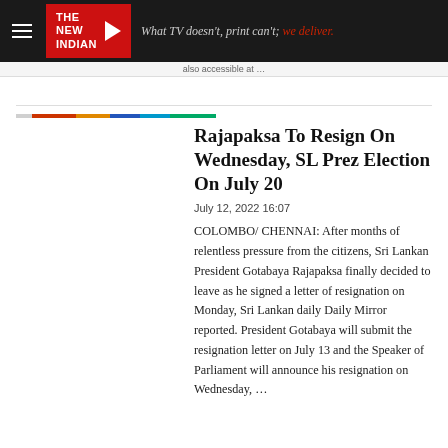THE NEW INDIAN — What TV doesn't, print can't; we deliver.
Rajapaksa To Resign On Wednesday, SL Prez Election On July 20
July 12, 2022 16:07
COLOMBO/ CHENNAI: After months of relentless pressure from the citizens, Sri Lankan President Gotabaya Rajapaksa finally decided to leave as he signed a letter of resignation on Monday, Sri Lankan daily Daily Mirror reported. President Gotabaya will submit the resignation letter on July 13 and the Speaker of Parliament will announce his resignation on Wednesday, …